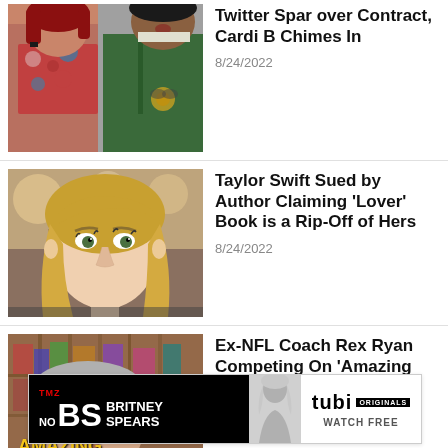[Figure (photo): Two celebrities posing together — woman in patterned outfit, man in green jacket]
Twitter Spar over Contract, Cardi B Chimes In
8/24/2022
[Figure (photo): Taylor Swift close-up portrait with blonde hair]
Taylor Swift Sued by Author Claiming 'Lover' Book is a Rip-Off of Hers
8/24/2022
[Figure (photo): Ex-NFL coach Rex Ryan photographed in front of The Amazing Race banner]
Ex-NFL Coach Rex Ryan Competing On 'Amazing Race'
[Figure (advertisement): TMZ No BS Britney Spears ad on Tubi Originals — Watch Free]